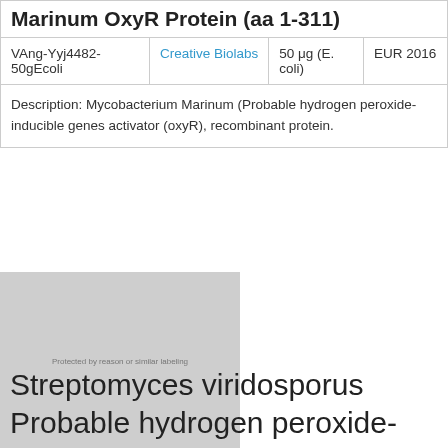| Catalog# | Supplier | Size | Price |
| --- | --- | --- | --- |
| VAng-Yyj4482-50gEcoli | Creative Biolabs | 50 μg (E. coli) | EUR 2016 |
| Description: Mycobacterium Marinum (Probable hydrogen peroxide-inducible genes activator (oxyR), recombinant protein. |  |  |  |
[Figure (photo): Placeholder image for product — grey rectangle with watermark text]
Streptomyces viridosporus Probable hydrogen peroxide-inducible genes activator (oxyR)